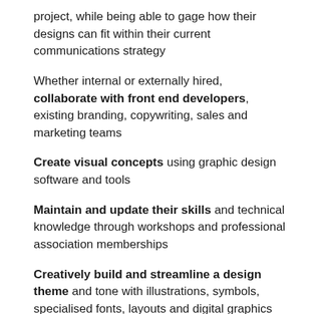project, while being able to gage how their designs can fit within their current communications strategy
Whether internal or externally hired, collaborate with front end developers, existing branding, copywriting, sales and marketing teams
Create visual concepts using graphic design software and tools
Maintain and update their skills and technical knowledge through workshops and professional association memberships
Creatively build and streamline a design theme and tone with illustrations, symbols, specialised fonts, layouts and digital graphics
Depending on the project scope, collaborate